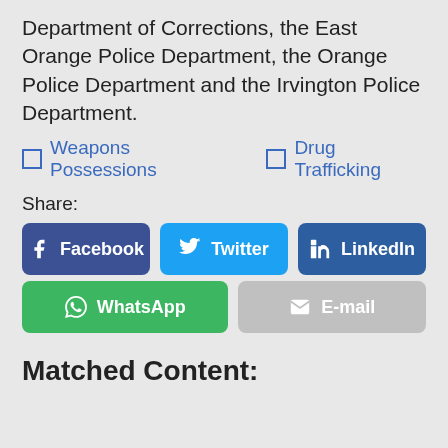Department of Corrections, the East Orange Police Department, the Orange Police Department and the Irvington Police Department.
Weapons Possessions
Drug Trafficking
Share:
Facebook | Twitter | LinkedIn | WhatsApp | E-mail
Matched Content: